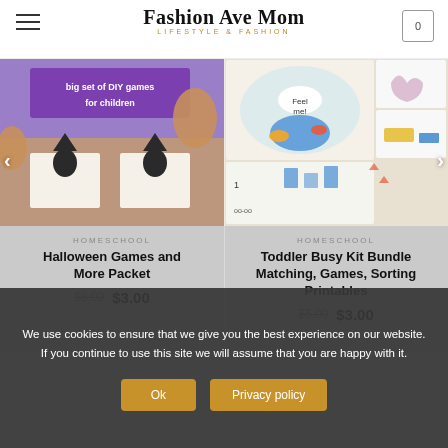Fashion Ave Mom LIFESTYLE & FASHION
[Figure (photo): Product image for Halloween Games and More Packet - purple background with children game cards]
HOMESCHOOL
Halloween Games and More Packet
$8.00  $3.00
[Figure (photo): Product image for Toddler Busy Kit Bundle - educational matching and sorting printables]
HOMESCHOOL
Toddler Busy Kit Bundle Matching, Games, Sorting Printables
$6.00  $3.00
We use cookies to ensure that we give you the best experience on our website. If you continue to use this site we will assume that you are happy with it.
Ok   Privacy policy